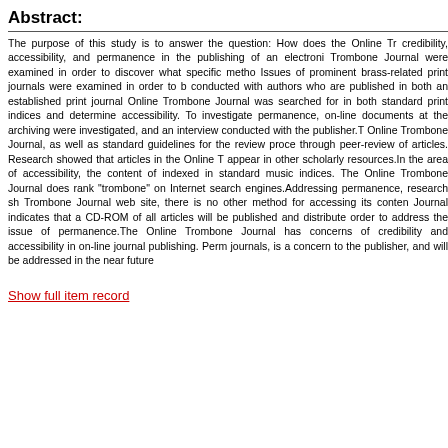Abstract:
The purpose of this study is to answer the question: How does the Online Tr credibility, accessibility, and permanence in the publishing of an electroni Trombone Journal were examined in order to discover what specific metho Issues of prominent brass-related print journals were examined in order to b conducted with authors who are published in both an established print journal Online Trombone Journal was searched for in both standard print indices and determine accessibility. To investigate permanence, on-line documents at the archiving were investigated, and an interview conducted with the publisher.T Online Trombone Journal, as well as standard guidelines for the review proce through peer-review of articles. Research showed that articles in the Online T appear in other scholarly resources.In the area of accessibility, the content of indexed in standard music indices. The Online Trombone Journal does rank "trombone" on Internet search engines.Addressing permanence, research sh Trombone Journal web site, there is no other method for accessing its conten Journal indicates that a CD-ROM of all articles will be published and distribute order to address the issue of permanence.The Online Trombone Journal has concerns of credibility and accessibility in on-line journal publishing. Perm journals, is a concern to the publisher, and will be addressed in the near future
Show full item record